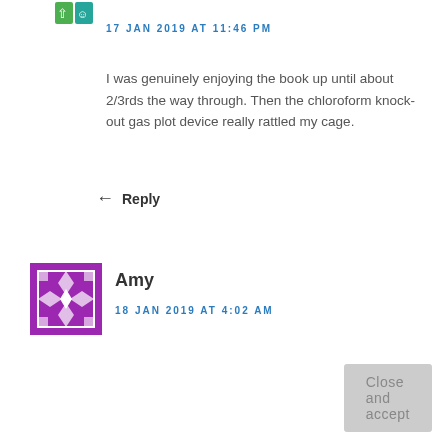[Figure (illustration): Small green/teal avatar icon with symbols, top-left area]
17 JAN 2019 AT 11:46 PM
I was genuinely enjoying the book up until about 2/3rds the way through. Then the chloroform knock-out gas plot device really rattled my cage.
Reply
[Figure (illustration): Purple geometric patterned avatar for user Amy]
Amy
18 JAN 2019 AT 4:02 AM
Close and accept